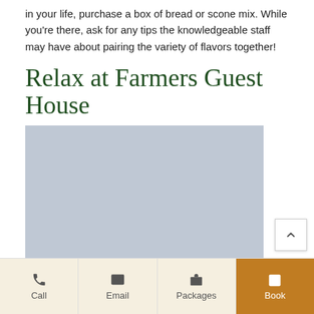in your life, purchase a box of bread or scone mix. While you're there, ask for any tips the knowledgeable staff may have about pairing the variety of flavors together!
Relax at Farmers Guest House
[Figure (photo): Placeholder image for Farmers Guest House, shown as a gray rectangle]
At Farmers Guest House, we love wine, and we're sure to share that love with our WineTime! Waiting in your room